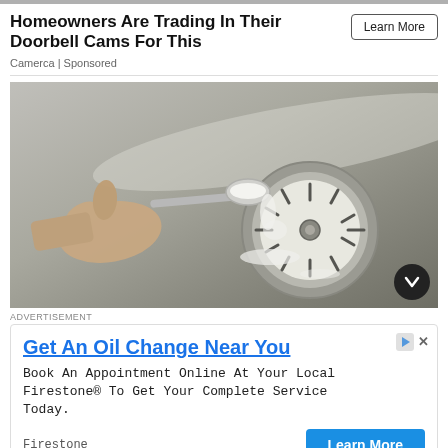Homeowners Are Trading In Their Doorbell Cams For This
Camerca | Sponsored
[Figure (photo): A hand holding a metal spoon pouring white powder (baking soda) into a stainless steel kitchen sink drain.]
ADVERTISEMENT
Get An Oil Change Near You
Book An Appointment Online At Your Local Firestone® To Get Your Complete Service Today.
Firestone